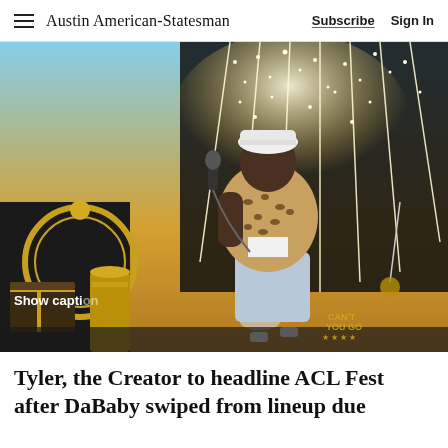Austin American-Statesman | Subscribe  Sign In
[Figure (photo): A performer wearing a white cap, leopard-print shirt, and light blue shorts holds a microphone on stage with sparkling lights and pyrotechnics in the background at ACL Fest.]
Show caption
Tyler, the Creator to headline ACL Fest after DaBaby swiped from lineup due